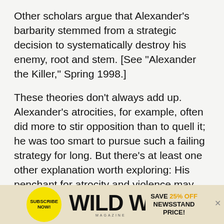Other scholars argue that Alexander's barbarity stemmed from a strategic decision to systematically destroy his enemy, root and stem. [See “Alexander the Killer,” Spring 1998.]
These theories don’t always add up. Alexander’s atrocities, for example, often did more to stir opposition than to quell it; he was too smart to pursue such a failing strategy for long. But there’s at least one other explanation worth exploring: His penchant for atrocity and violence may have been rooted in deepseated fears that he did not have what it took to be a soldier and commander. Though the most formidable figure of his time, he grew up estranged from the culture of the
[Figure (infographic): Advertisement banner for Wild West Magazine. Yellow circle with 'SUBSCRIBE NOW!' text on left, Wild West Magazine logo in center, 'SAVE 25% OFF NEWSSTAND PRICE!' text on right in black and orange.]